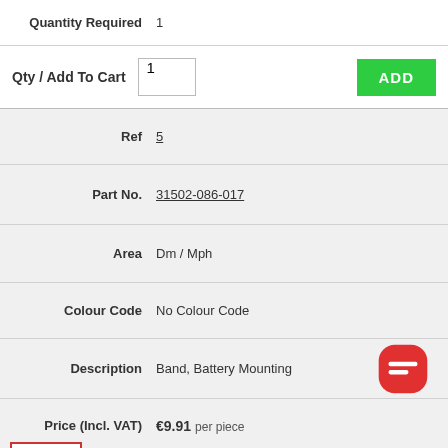| Field | Value |
| --- | --- |
| Quantity Required | 1 |
| Qty / Add To Cart | 1 [ADD] |
| Ref | 5 |
| Part No. | 31502-086-017 |
| Area | Dm / Mph |
| Colour Code | No Colour Code |
| Description | Band, Battery Mounting |
| Price (Incl. VAT) | €9.91 per piece |
| Quantity Required | 1 |